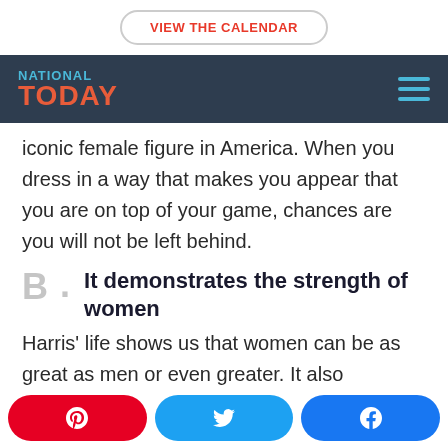VIEW THE CALENDAR
[Figure (logo): National Today logo with hamburger menu on dark navy background]
iconic female figure in America. When you dress in a way that makes you appear that you are on top of your game, chances are you will not be left behind.
B. It demonstrates the strength of women
Harris' life shows us that women can be as great as men or even greater. It also
Pinterest | Twitter | Facebook social share buttons